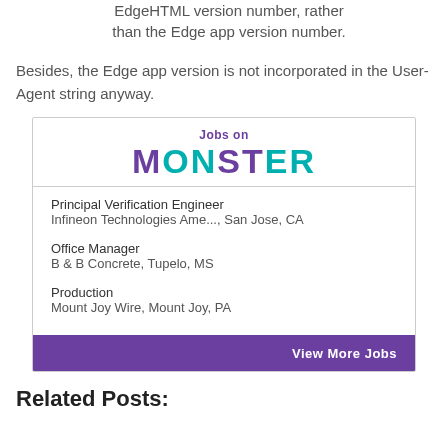EdgeHTML version number, rather than the Edge app version number.
Besides, the Edge app version is not incorporated in the User-Agent string anyway.
[Figure (other): Monster Jobs advertisement box with header 'Jobs on MONSTER' and three job listings: Principal Verification Engineer at Infineon Technologies Ame..., San Jose, CA; Office Manager at B & B Concrete, Tupelo, MS; Production at Mount Joy Wire, Mount Joy, PA. Bottom bar with 'View More Jobs' button.]
Related Posts: